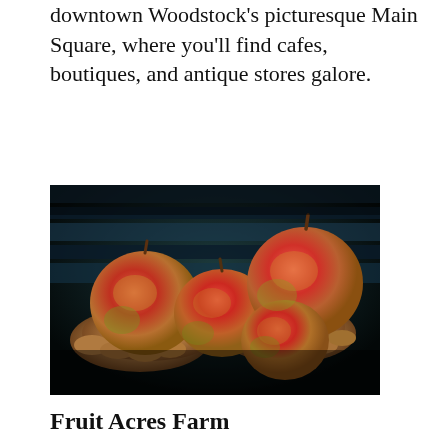downtown Woodstock's picturesque Main Square, where you'll find cafes, boutiques, and antique stores galore.
[Figure (photo): Close-up photograph of a person's hands holding several red and green apples, wearing a striped blue and black shirt in the background.]
Fruit Acres Farm
3390 Friday Rd.,
Coloma, Michigan (I-94 at Coloma Exit #39)